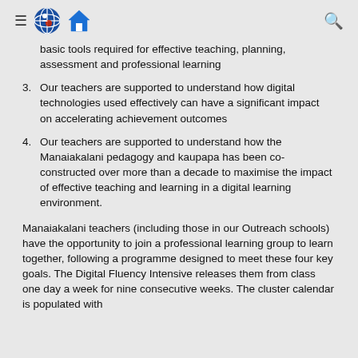Navigation header with hamburger menu, globe logo, house logo, and search icon
basic tools required for effective teaching, planning, assessment and professional learning
3. Our teachers are supported to understand how digital technologies used effectively can have a significant impact on accelerating achievement outcomes
4. Our teachers are supported to understand how the Manaiakalani pedagogy and kaupapa has been co-constructed over more than a decade to maximise the impact of effective teaching and learning in a digital learning environment.
Manaiakalani teachers (including those in our Outreach schools) have the opportunity to join a professional learning group to learn together, following a programme designed to meet these four key goals. The Digital Fluency Intensive releases them from class one day a week for nine consecutive weeks. The cluster calendar is populated with